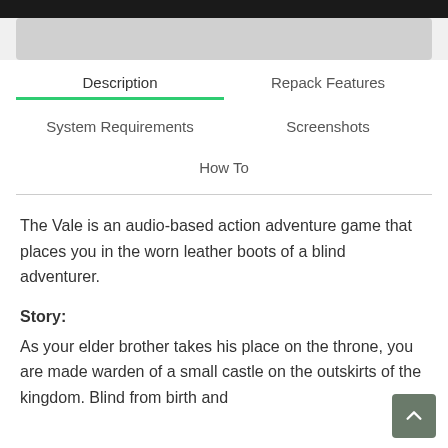Description
Repack Features
System Requirements
Screenshots
How To
The Vale is an audio-based action adventure game that places you in the worn leather boots of a blind adventurer.
Story:
As your elder brother takes his place on the throne, you are made warden of a small castle on the outskirts of the kingdom. Blind from birth and